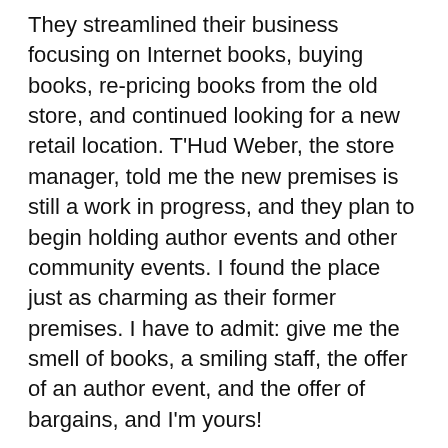They streamlined their business focusing on Internet books, buying books, re-pricing books from the old store, and continued looking for a new retail location. T'Hud Weber, the store manager, told me the new premises is still a work in progress, and they plan to begin holding author events and other community events. I found the place just as charming as their former premises. I have to admit: give me the smell of books, a smiling staff, the offer of an author event, and the offer of bargains, and I'm yours!
Here are Ms. Weber's answers to my questions:
[Figure (photo): Photo of a woman with dark red/burgundy hair smiling, shown from shoulders up]